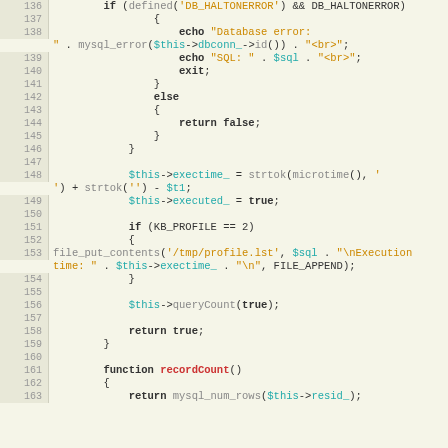Code listing lines 136-163 showing PHP database query execution code